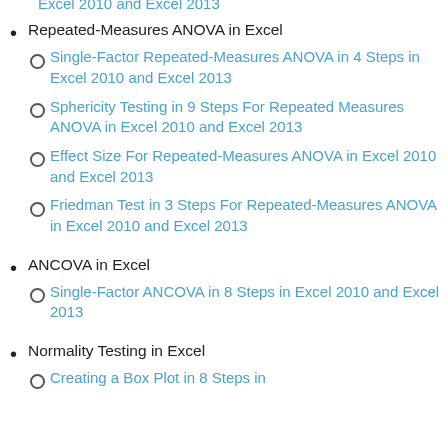Repeated-Measures ANOVA in Excel
Single-Factor Repeated-Measures ANOVA in 4 Steps in Excel 2010 and Excel 2013
Sphericity Testing in 9 Steps For Repeated Measures ANOVA in Excel 2010 and Excel 2013
Effect Size For Repeated-Measures ANOVA in Excel 2010 and Excel 2013
Friedman Test in 3 Steps For Repeated-Measures ANOVA in Excel 2010 and Excel 2013
ANCOVA in Excel
Single-Factor ANCOVA in 8 Steps in Excel 2010 and Excel 2013
Normality Testing in Excel
Creating a Box Plot in 8 Steps in